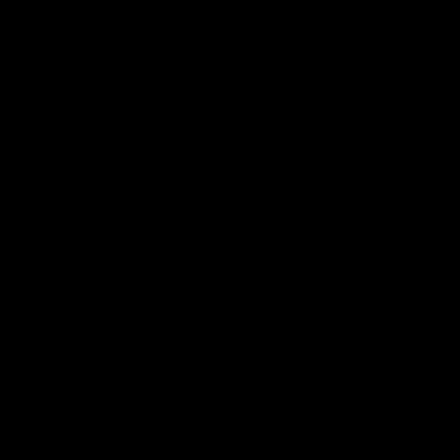the Percee P record was also a 2007 release, and I noticed the phrase "now it's 2005" (!) when I was playing the Stands For Decibels CD during my Best